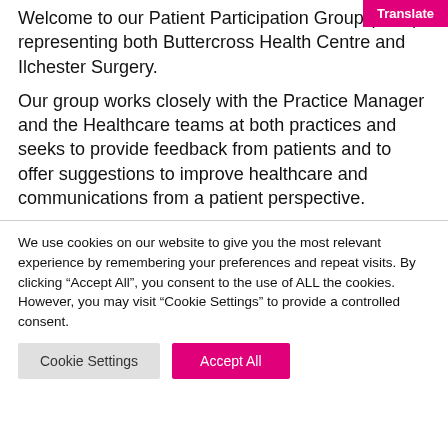Welcome to our Patient Participation Group (PPG) representing both Buttercross Health Centre and Ilchester Surgery.
Our group works closely with the Practice Manager and the Healthcare teams at both practices and seeks to provide feedback from patients and to offer suggestions to improve healthcare and communications from a patient perspective.
We use cookies on our website to give you the most relevant experience by remembering your preferences and repeat visits. By clicking “Accept All”, you consent to the use of ALL the cookies. However, you may visit “Cookie Settings” to provide a controlled consent.